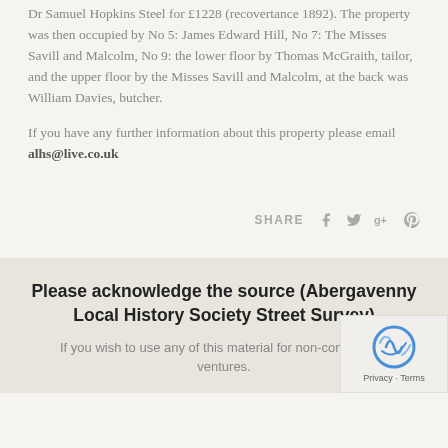Dr Samuel Hopkins Steel for £1228 (recovertance 1892). The property was then occupied by No 5: James Edward Hill, No 7: The Misses Savill and Malcolm, No 9: the lower floor by Thomas McGraith, tailor, and the upper floor by the Misses Savill and Malcolm, at the back was William Davies, butcher.
If you have any further information about this property please email alhs@live.co.uk
SHARE
Please acknowledge the source (Abergavenny Local History Society Street Survey)
If you wish to use any of this material for non-commercial ventures.